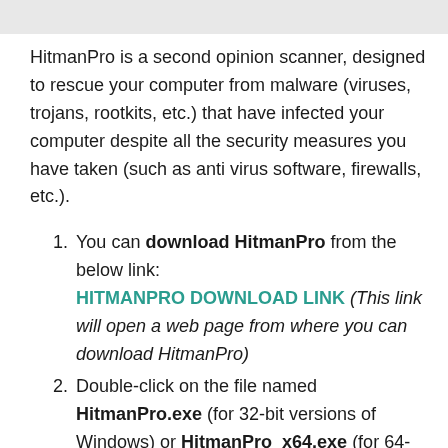HitmanPro is a second opinion scanner, designed to rescue your computer from malware (viruses, trojans, rootkits, etc.) that have infected your computer despite all the security measures you have taken (such as anti virus software, firewalls, etc.).
You can download HitmanPro from the below link: HITMANPRO DOWNLOAD LINK (This link will open a web page from where you can download HitmanPro)
Double-click on the file named HitmanPro.exe (for 32-bit versions of Windows) or HitmanPro_x64.exe (for 64-